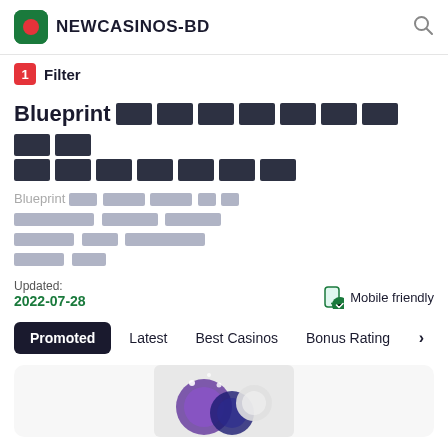NEWCASINOS-BD
1 Filter
Blueprint [redacted Bengali text]
Blueprint [redacted Bengali body text describing Blueprint gaming provider information]
Updated: 2022-07-28   Mobile friendly
Promoted  Latest  Best Casinos  Bonus Rating >
[Figure (screenshot): Partially visible casino card at the bottom of the page]